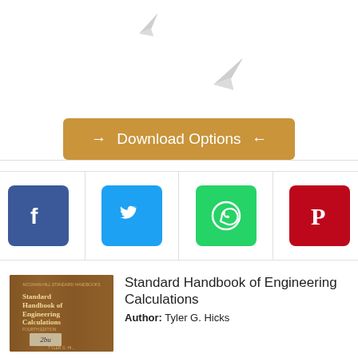[Figure (illustration): Two paper plane icons on white background]
→ Download Options ←
[Figure (infographic): Social media share bar with Facebook (blue), Twitter (light blue), WhatsApp (green), Pinterest (red) icon buttons]
[Figure (photo): Book cover of Standard Handbook of Engineering Calculations, Fourth Edition, by Tyler G. Hicks — brown wood-texture cover]
Standard Handbook of Engineering Calculations
Author: Tyler G. Hicks